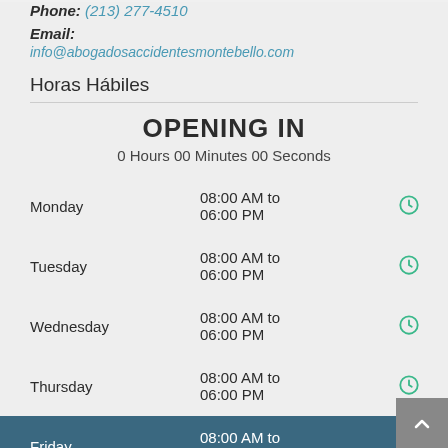Phone: (213) 277-4510
Email:
info@abogadosaccidentesmontebello.com
Horas Hábiles
OPENING IN
0 Hours 00 Minutes 00 Seconds
| Day | Hours |  |
| --- | --- | --- |
| Monday | 08:00 AM to 06:00 PM |  |
| Tuesday | 08:00 AM to 06:00 PM |  |
| Wednesday | 08:00 AM to 06:00 PM |  |
| Thursday | 08:00 AM to 06:00 PM |  |
| Friday | 08:00 AM to 06:00 PM |  |